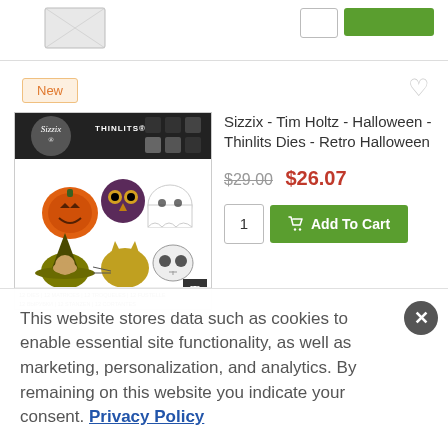[Figure (photo): Partial product image visible at top of page, cut off]
New
[Figure (photo): Sizzix Thinlits product package showing Halloween die cuts: pumpkin, owl, ghost, cat, witch, skull. THINLITS branding with Tim Holtz signature. 12 DIES | 12 MATRICES | 12 TROQUELES | 12 FUSTELLE | 12 ВЫРУБКИ | 12 STANZEN | 12 CORTANTES]
Sizzix - Tim Holtz - Halloween - Thinlits Dies - Retro Halloween
$29.00  $26.07
1  Add To Cart
This website stores data such as cookies to enable essential site functionality, as well as marketing, personalization, and analytics. By remaining on this website you indicate your consent. Privacy Policy